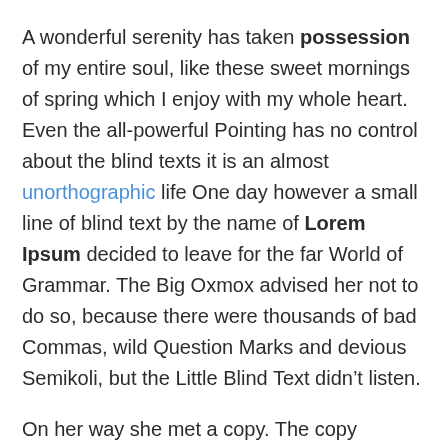A wonderful serenity has taken possession of my entire soul, like these sweet mornings of spring which I enjoy with my whole heart. Even the all-powerful Pointing has no control about the blind texts it is an almost unorthographic life One day however a small line of blind text by the name of Lorem Ipsum decided to leave for the far World of Grammar. The Big Oxmox advised her not to do so, because there were thousands of bad Commas, wild Question Marks and devious Semikoli, but the Little Blind Text didn’t listen.
On her way she met a copy. The copy warned the Little Blind Text, that where it came from it would have been rewritten a thousand times and everything that was left from its origin would be the word “and” and the Little Blind Text should turn around and return to its own, safe country.
A wonderful serenity has taken possession of my entire